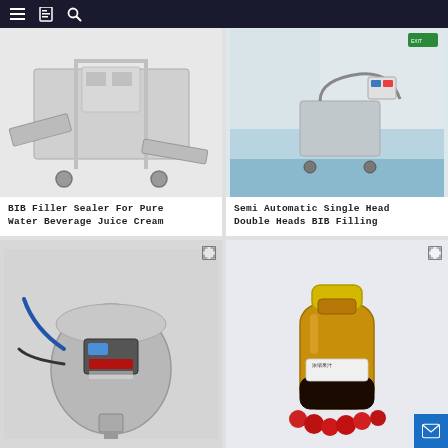Navigation bar with menu, bookmark, and search icons
[Figure (photo): Industrial BIB Filler Sealer machine, stainless steel, large automated packaging line with conveyor belts]
BIB Filler Sealer For Pure Water Beverage Juice Cream
[Figure (photo): Semi automatic single head double heads BIB filling machine in industrial room with blue floor, control panel visible]
Semi Automatic Single Head Double Heads BIB Filling
[Figure (photo): Stainless steel BIB filling machine with hoses and digital display panel, dark background]
[Figure (photo): Amber glass/plastic bottle with yellow cap, red dates/berries at base, Chinese label reading concentrated fruit juice]